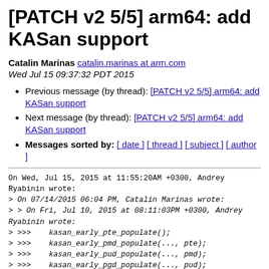[PATCH v2 5/5] arm64: add KASan support
Catalin Marinas catalin.marinas at arm.com
Wed Jul 15 09:37:32 PDT 2015
Previous message (by thread): [PATCH v2 5/5] arm64: add KASan support
Next message (by thread): [PATCH v2 5/5] arm64: add KASan support
Messages sorted by: [ date ] [ thread ] [ subject ] [ author ]
On Wed, Jul 15, 2015 at 11:55:20AM +0300, Andrey Ryabinin wrote:
> On 07/14/2015 06:04 PM, Catalin Marinas wrote:
> > On Fri, Jul 10, 2015 at 08:11:03PM +0300, Andrey Ryabinin wrote:
> >>>    kasan_early_pte_populate();
> >>>    kasan_early_pmd_populate(..., pte);
> >>>    kasan_early_pud_populate(..., pmd);
> >>>    kasan_early_pgd_populate(..., pud);
> >>>
> >>> (or in reverse order)
> >>